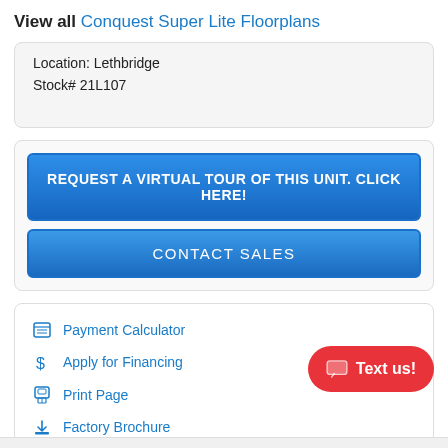View all Conquest Super Lite Floorplans
Location: Lethbridge
Stock# 21L107
REQUEST A VIRTUAL TOUR OF THIS UNIT. CLICK HERE!
CONTACT SALES
Payment Calculator
Apply for Financing
Print Page
Factory Brochure
Send To Friend
Favorite  SHARE
Text us!